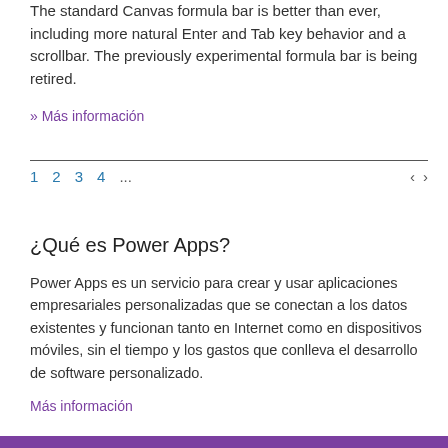The standard Canvas formula bar is better than ever, including more natural Enter and Tab key behavior and a scrollbar. The previously experimental formula bar is being retired.
» Más información
1  2  3  4  ...                                           ‹  ›
¿Qué es Power Apps?
Power Apps es un servicio para crear y usar aplicaciones empresariales personalizadas que se conectan a los datos existentes y funcionan tanto en Internet como en dispositivos móviles, sin el tiempo y los gastos que conlleva el desarrollo de software personalizado.
Más información